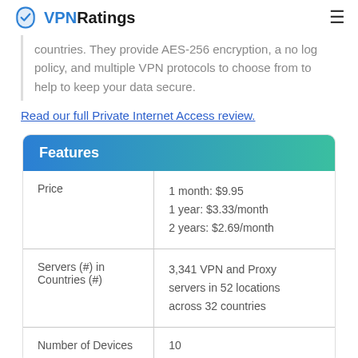VPNRatings
countries. They provide AES-256 encryption, a no log policy, and multiple VPN protocols to choose from to help to keep your data secure.
Read our full Private Internet Access review.
| Feature | Value |
| --- | --- |
| Price | 1 month: $9.95
1 year: $3.33/month
2 years: $2.69/month |
| Servers (#) in Countries (#) | 3,341 VPN and Proxy servers in 52 locations across 32 countries |
| Number of Devices | 10 |